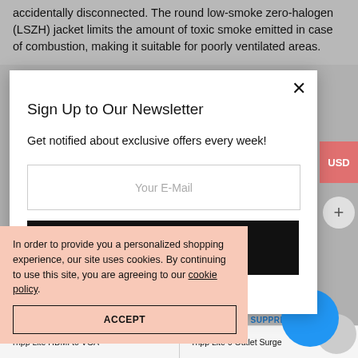accidentally disconnected. The round low-smoke zero-halogen (LSZH) jacket limits the amount of toxic smoke emitted in case of combustion, making it suitable for poorly ventilated areas.
Sign Up to Our Newsletter
Get notified about exclusive offers every week!
Your E-Mail
offers.
In order to provide you a personalized shopping experience, our site uses cookies. By continuing to use this site, you are agreeing to our cookie policy.
ACCEPT
URGE SUPPRESSOR
Tripp Lite HDMI to VGA
Tripp Lite 6 Outlet Surge